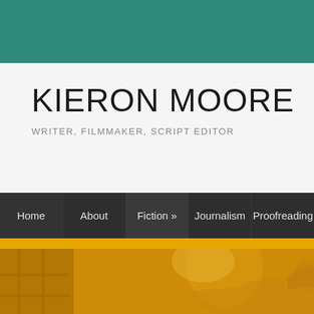KIERON MOORE
WRITER, FILMMAKER, SCRIPT EDITOR
Home
About
Fiction »
Journalism
Proofreading
[Figure (photo): Hero image showing a person in profile view with golden/amber tint overlay, architectural element visible in background]